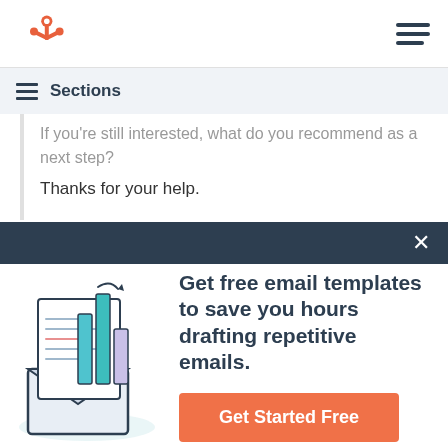HubSpot logo and navigation menu
Sections
If you're still interested, what do you recommend as a next step?

Thanks for your help.
[Figure (illustration): HubSpot popup modal with email templates illustration showing a document with bar charts emerging from an envelope]
Get free email templates to save you hours drafting repetitive emails.
Get Started Free